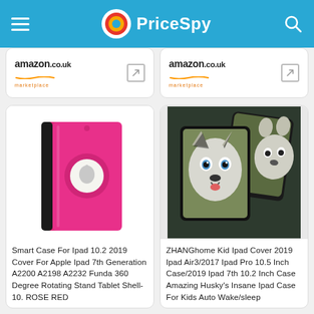PriceSpy
[Figure (logo): Two Amazon.co.uk marketplace logos with external link icons]
[Figure (photo): Pink rotating 360-degree tablet case for iPad]
Smart Case For Ipad 10.2 2019 Cover For Apple Ipad 7th Generation A2200 A2198 A2232 Funda 360 Degree Rotating Stand Tablet Shell-10. ROSE RED
[Figure (photo): Husky puppy iPad cover case showing two iPad cases with cute husky dog images]
ZHANGhome Kid Ipad Cover 2019 Ipad Air3/2017 Ipad Pro 10.5 Inch Case/2019 Ipad 7th 10.2 Inch Case Amazing Husky's Insane Ipad Case For Kids Auto Wake/sleep